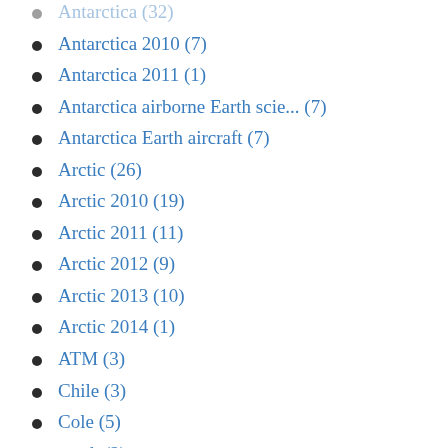Antarctica 2010 (7)
Antarctica 2011 (1)
Antarctica airborne Earth scie... (7)
Antarctica Earth aircraft (7)
Arctic (26)
Arctic 2010 (19)
Arctic 2011 (11)
Arctic 2012 (9)
Arctic 2013 (10)
Arctic 2014 (1)
ATM (3)
Chile (3)
Cole (5)
crack (2)
CryoSat-2 (6)
CryoVEx (4)